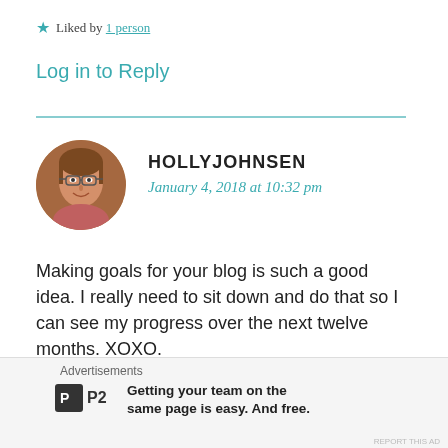★ Liked by 1 person
Log in to Reply
[Figure (photo): Circular avatar photo of Holly Johnsen, a woman with glasses smiling]
HOLLYJOHNSEN
January 4, 2018 at 10:32 pm
Making goals for your blog is such a good idea. I really need to sit down and do that so I can see my progress over the next twelve months. XOXO.
http://www.deltahoteljuliet.com
★ Liked by 2 people
Advertisements
Getting your team on the same page is easy. And free.